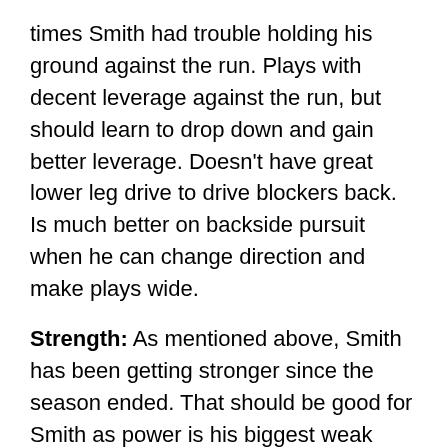times Smith had trouble holding his ground against the run. Plays with decent leverage against the run, but should learn to drop down and gain better leverage. Doesn't have great lower leg drive to drive blockers back. Is much better on backside pursuit when he can change direction and make plays wide.
Strength: As mentioned above, Smith has been getting stronger since the season ended. That should be good for Smith as power is his biggest weak spot. Smith isn't built like a basketball player, but he has a lean, long frame. Doesn't have the strength at the point of attack to split double teams. Although he was used inside in some situations, Smith relied more on his initial burst than speed to shoot the A-gap.
Tackling: Is more of a drag down tackler than a